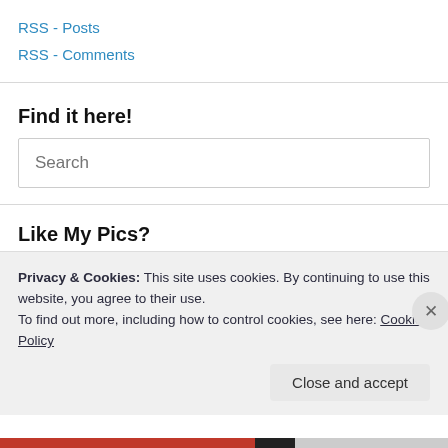RSS - Posts
RSS - Comments
Find it here!
Search
Like My Pics?
Do you like the pics on my blog? If so, I'm thrilled! But using them
Privacy & Cookies: This site uses cookies. By continuing to use this website, you agree to their use.
To find out more, including how to control cookies, see here: Cookie Policy
Close and accept